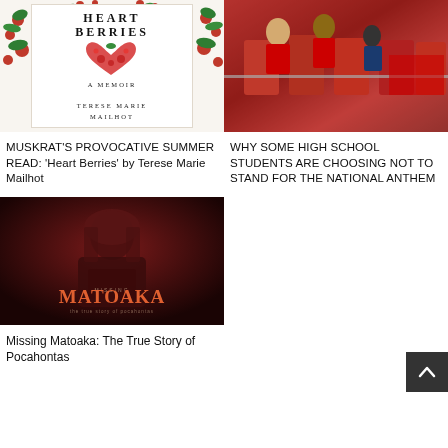[Figure (photo): Book cover of 'Heart Berries' by Terese Marie Mailhot with floral/berry decorations]
[Figure (photo): Photo of high school students sitting in red chairs, viewed from behind]
MUSKRAT'S PROVOCATIVE SUMMER READ: 'Heart Berries' by Terese Marie Mailhot
WHY SOME HIGH SCHOOL STUDENTS ARE CHOOSING NOT TO STAND FOR THE NATIONAL ANTHEM
[Figure (photo): Dark red/maroon movie or documentary cover titled 'Matoaka' showing a Native American figure]
Missing Matoaka: The True Story of Pocahontas